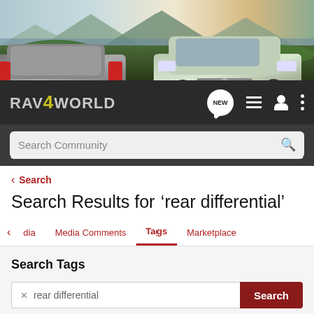[Figure (photo): Banner showing two Toyota RAV4 SUVs parked outdoors with mountains and lake in background]
RAV4WORLD — navigation bar with logo, NEW chat bubble, list icon, user icon, and more options icon
Search Community
< Search
Search Results for 'rear differential'
< dia   Media Comments   Tags   Marketplace
Search Tags
X rear differential   Search